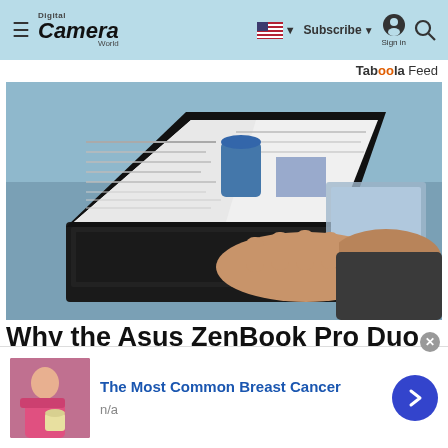Digital Camera World — Subscribe | Sign in | Search
Taboola Feed
[Figure (photo): Person typing on an Asus ZenBook Pro Duo laptop with dual screens on a desk, with a coffee mug and tablet in the background]
Why the Asus ZenBook Pro Duo is a game-changer for your creativity
The Most Common Breast Cancer
n/a